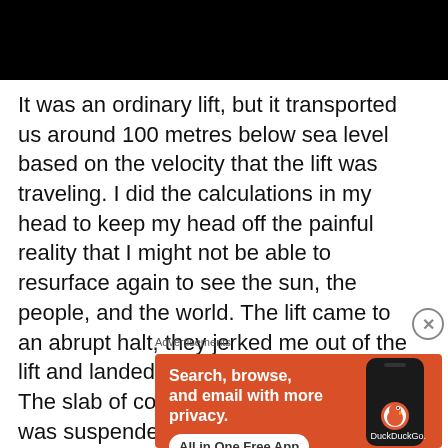[Figure (photo): Black rectangular bar at the top of the page, representing a header image area]
It was an ordinary lift, but it transported us around 100 metres below sea level based on the velocity that the lift was traveling. I did the calculations in my head to keep my head off the painful reality that I might not be able to resurface again to see the sun, the people, and the world. The lift came to an abrupt halt, they jerked me out of the lift and landed on the cold hard ground. The slab of concrete which was the lift was suspended in the air left my mind blown. I turned my head from it
Advertisements
[Figure (screenshot): DuckDuckGo advertisement banner with orange background. Text reads: Search, browse, and email with more privacy. All in One Free App. Shows a smartphone with DuckDuckGo logo.]